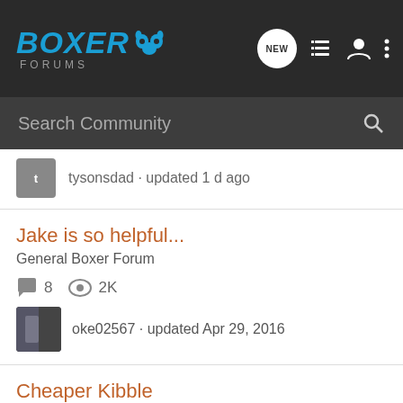Boxer Forums
Search Community
tysonsdad · updated 1 d ago
Jake is so helpful...
General Boxer Forum
8  2K
oke02567 · updated Apr 29, 2016
Cheaper Kibble
Food Tips and Diet Info
10  5K
tlp2007 · updated Jun 24, 2012